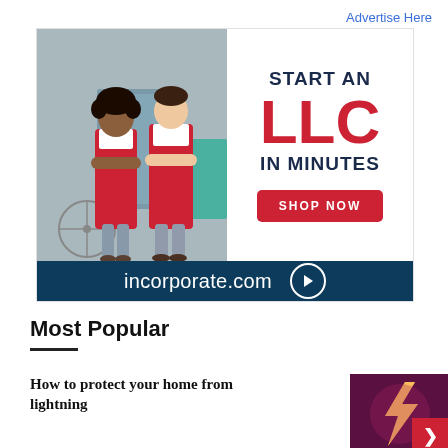Advertise Here
[Figure (advertisement): Incorporate.com advertisement showing two people in red aprons outside a shop. Text reads: START AN LLC IN MINUTES. SHOP NOW button. incorporate.com with arrow.]
Most Popular
How to protect your home from lightning
[Figure (photo): Thumbnail photo of lightning bolt in dark purple/red stormy sky with a red badge overlay]